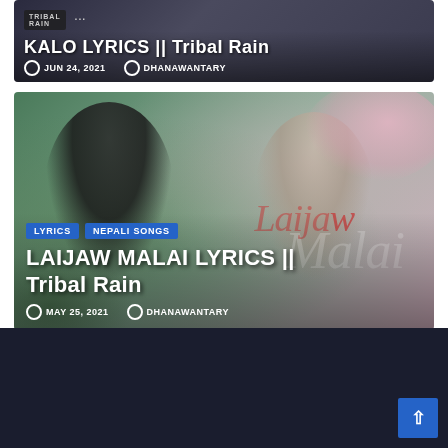[Figure (screenshot): Top card showing a dark-themed thumbnail with a Tribal Rain logo and three dots icon, containing title text 'KALO LYRICS || Tribal Rain' with date JUN 24, 2021 and author DHANAWANTARY]
JUN 24, 2021   DHANAWANTARY
[Figure (photo): Main card with a couple standing in a cherry blossom garden. Overlay text watermark 'Laijaw Malai' in red/white cursive. Categories: LYRICS, NEPALI SONGS]
LAIJAW MALAI LYRICS || Tribal Rain
MAY 25, 2021   DHANAWANTARY
[Figure (other): Dark navy blue footer section with a blue scroll-to-top button with an upward arrow in the bottom right corner]